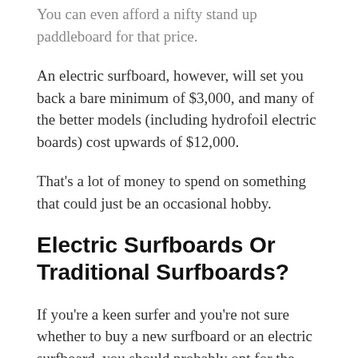You can even afford a nifty stand up paddleboard for that price.
An electric surfboard, however, will set you back a bare minimum of $3,000, and many of the better models (including hydrofoil electric boards) cost upwards of $12,000.
That's a lot of money to spend on something that could just be an occasional hobby.
Electric Surfboards Or Traditional Surfboards?
If you're a keen surfer and you're not sure whether to buy a new surfboard or an electric surfboard, you should probably opt for the former.